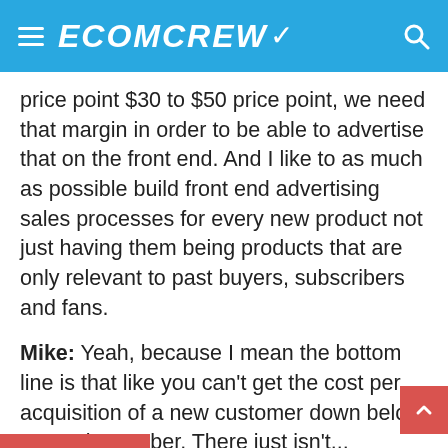ECOMCREW
price point $30 to $50 price point, we need that margin in order to be able to advertise that on the front end. And I like to as much as possible build front end advertising sales processes for every new product not just having them being products that are only relevant to past buyers, subscribers and fans.
Mike: Yeah, because I mean the bottom line is that like you can't get the cost per acquisition of a new customer down below a certain number. There just isn't...